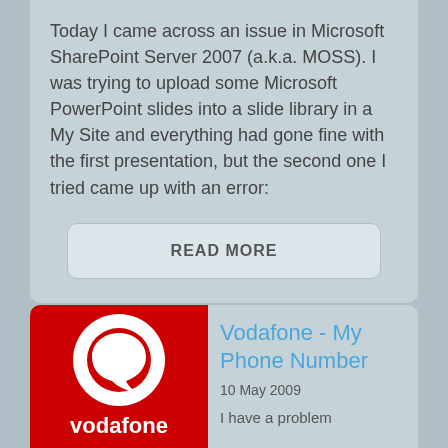Today I came across an issue in Microsoft SharePoint Server 2007 (a.k.a. MOSS). I was trying to upload some Microsoft PowerPoint slides into a slide library in a My Site and everything had gone fine with the first presentation, but the second one I tried came up with an error:
READ MORE
[Figure (logo): Vodafone logo on red background with white speech mark icon and white 'vodafone' text]
Vodafone - My Phone Number
10 May 2009
I have a problem